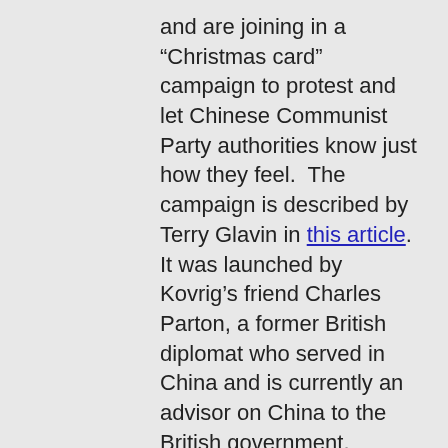and are joining in a “Christmas card” campaign to protest and let Chinese Communist Party authorities know just how they feel.  The campaign is described by Terry Glavin in this article. It was launched by Kovrig’s friend Charles Parton, a former British diplomat who served in China and is currently an advisor on China to the British government.

When it comes to loving freedom there are none in the land as committed to the cause as Canadians like yourself - members of Canadian Citizens for Charter Rights and Freedoms (C3RF). Will you join the campaign and write Christmas cards to the two Michaels, and send the cards to the Chinese